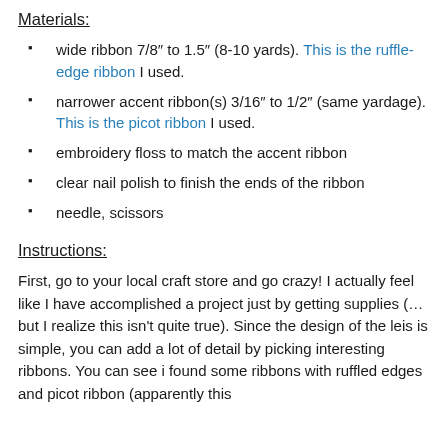Materials:
wide ribbon 7/8″ to 1.5″ (8-10 yards). This is the ruffle-edge ribbon I used.
narrower accent ribbon(s) 3/16″ to 1/2″ (same yardage). This is the picot ribbon I used.
embroidery floss to match the accent ribbon
clear nail polish to finish the ends of the ribbon
needle, scissors
Instructions:
First, go to your local craft store and go crazy! I actually feel like I have accomplished a project just by getting supplies (…but I realize this isn't quite true). Since the design of the leis is simple, you can add a lot of detail by picking interesting ribbons. You can see i found some ribbons with ruffled edges and picot ribbon (apparently this